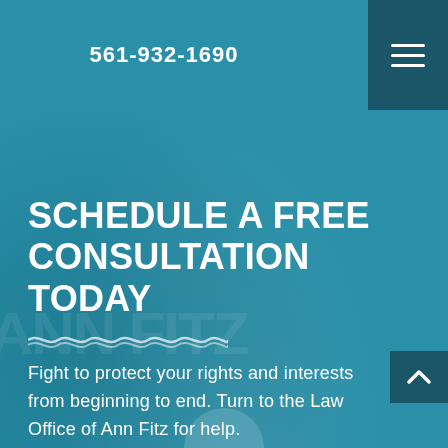561-932-1690
SCHEDULE A FREE CONSULTATION TODAY
Fight to protect your rights and interests from beginning to end. Turn to the Law Office of Ann Fitz for help.